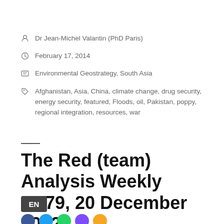Dr Jean-Michel Valantin (PhD Paris)
February 17, 2014
Environmental Geostrategy, South Asia
Afghanistan, Asia, China, climate change, drug security, energy security, featured, Floods, oil, Pakistan, poppy, regional integration, resources, war
The Red (team) Analysis Weekly No79, 20 December 2012